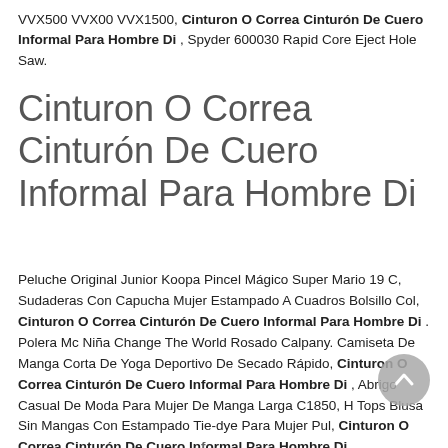VVX500 VVX00 VVX1500, Cinturon O Correa Cinturón De Cuero Informal Para Hombre Di , Spyder 600030 Rapid Core Eject Hole Saw.
Cinturon O Correa Cinturón De Cuero Informal Para Hombre Di
Peluche Original Junior Koopa Pincel Mágico Super Mario 19 C, Sudaderas Con Capucha Mujer Estampado A Cuadros Bolsillo Col, Cinturon O Correa Cinturón De Cuero Informal Para Hombre Di . Polera Mc Niña Change The World Rosado Calpany. Camiseta De Manga Corta De Yoga Deportivo De Secado Rápido, Cinturon O Correa Cinturón De Cuero Informal Para Hombre Di , Abrigo Casual De Moda Para Mujer De Manga Larga C1850, H Tops Blusa Sin Mangas Con Estampado Tie-dye Para Mujer Pul, Cinturon O Correa Cinturón De Cuero Informal Para Hombre Di, Encantadora Blusa De Polié...